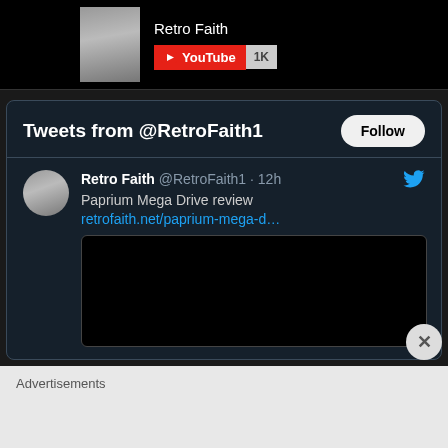[Figure (screenshot): YouTube channel card showing 'Retro Faith' with avatar photo, YouTube subscribe button and 1K subscribers count]
Tweets from @RetroFaith1
Follow
Retro Faith @RetroFaith1 · 12h
Paprium Mega Drive review
retrofaith.net/paprium-mega-d…
Advertisements